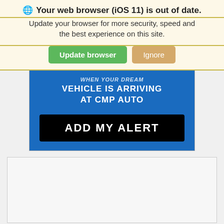Your web browser (iOS 11) is out of date.
Update your browser for more security, speed and the best experience on this site.
[Figure (screenshot): Two buttons: green 'Update browser' button and tan/orange 'Ignore' button]
[Figure (infographic): Blue advertisement box with white bold text reading 'VEHICLE IS ARRIVING AT CMP AUTO' and a black button with white bold text 'ADD MY ALERT']
[Figure (screenshot): Empty light gray content box with border]